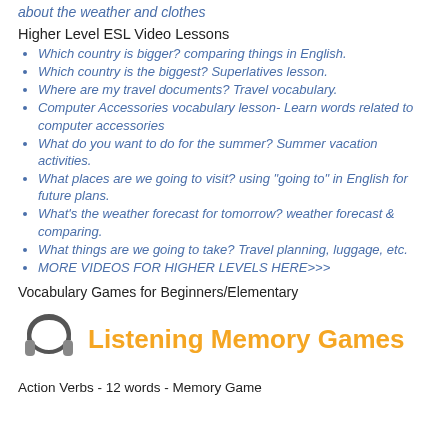about the weather and clothes
Higher Level ESL Video Lessons
Which country is bigger? comparing things in English.
Which country is the biggest? Superlatives lesson.
Where are my travel documents? Travel vocabulary.
Computer Accessories vocabulary lesson- Learn words related to computer accessories
What do you want to do for the summer? Summer vacation activities.
What places are we going to visit? using "going to" in English for future plans.
What's the weather forecast for tomorrow? weather forecast & comparing.
What things are we going to take? Travel planning, luggage, etc.
MORE VIDEOS FOR HIGHER LEVELS HERE>>>
Vocabulary Games for Beginners/Elementary
[Figure (illustration): Headphone icon next to 'Listening Memory Games' text in orange]
Action Verbs - 12 words - Memory Game